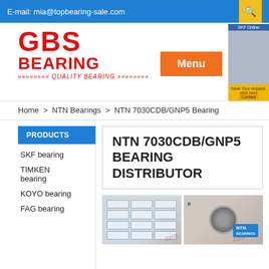E-mail: mia@topbearing-sale.com
[Figure (logo): GBS Bearing logo with red stylized text and quality bearing tagline]
Menu
Home > NTN Bearings > NTN 7030CDB/GNP5 Bearing
PRODUCTS
SKF bearing
TIMKEN bearing
KOYO bearing
FAG bearing
NTN 7030CDB/GNP5 BEARING DISTRIBUTOR
[Figure (photo): NTN bearing product boxes stacked on shelf and NTN bearing unit in plastic packaging]